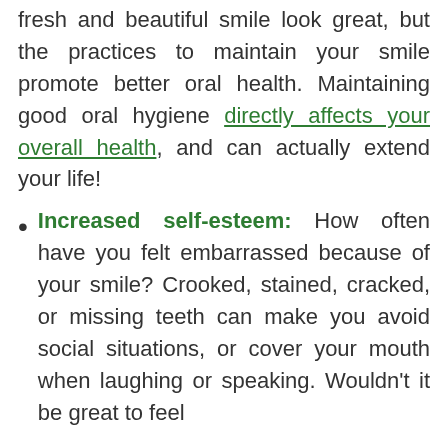fresh and beautiful smile look great, but the practices to maintain your smile promote better oral health. Maintaining good oral hygiene directly affects your overall health, and can actually extend your life!
Increased self-esteem: How often have you felt embarrassed because of your smile? Crooked, stained, cracked, or missing teeth can make you avoid social situations, or cover your mouth when laughing or speaking. Wouldn't it be great to feel